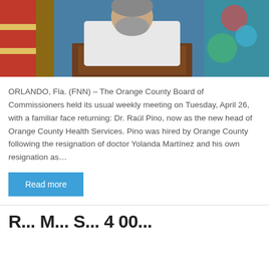[Figure (photo): Man in white shirt speaking at a podium with a microphone; American flag visible in background]
ORLANDO, Fla. (FNN) – The Orange County Board of Commissioners held its usual weekly meeting on Tuesday, April 26, with a familiar face returning: Dr. Raúl Pino, now as the new head of Orange County Health Services. Pino was hired by Orange County following the resignation of doctor Yolanda Martínez and his own resignation as…
Read more
R... M... S... 4 00...